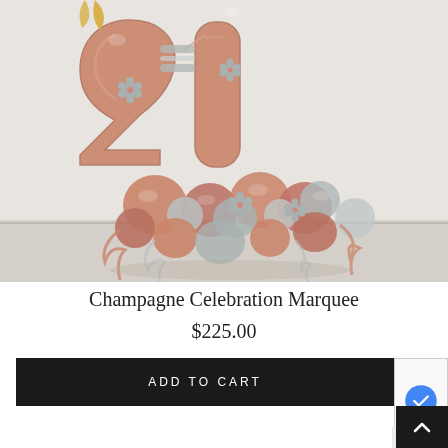[Figure (photo): A balloon arrangement featuring large rose gold number '21' foil balloons decorated with silver/grey flower accents, surrounded by a cluster of rose gold, mauve, and silver/grey chrome balloons with curling ribbons at the base, on a light grey floor against a white wall.]
Champagne Celebration Marquee
$225.00
ADD TO CART